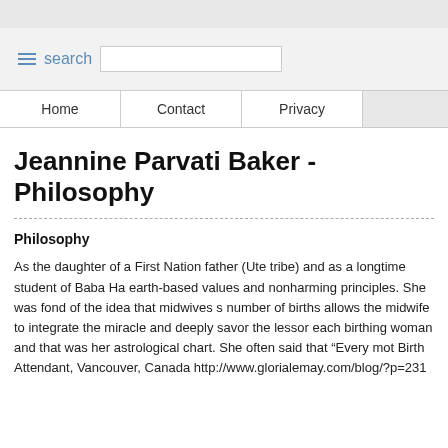search
Jeannine Parvati Baker - Philosophy
Philosophy
As the daughter of a First Nation father (Ute tribe) and as a longtime student of Baba Ha earth-based values and nonharming principles. She was fond of the idea that midwives s number of births allows the midwife to integrate the miracle and deeply savor the lessor each birthing woman and that was her astrological chart. She often said that "Every mot Birth Attendant, Vancouver, Canada http://www.glorialemay.com/blog/?p=231